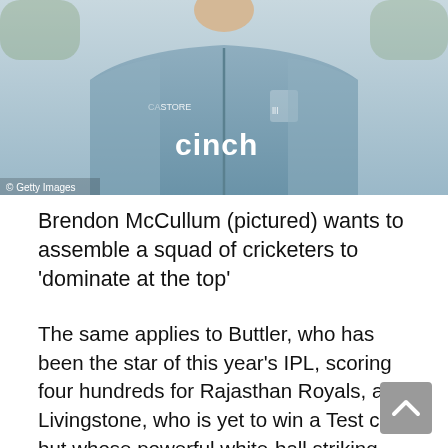[Figure (photo): Person wearing a blue England cricket training jacket with 'cinch' sponsor logo, Castore brand mark, and England cricket three lions badge. Photo credit: © Getty Images.]
Brendon McCullum (pictured) wants to assemble a squad of cricketers to 'dominate at the top'
The same applies to Buttler, who has been the star of this year's IPL, scoring four hundreds for Rajasthan Royals, and Livingstone, who is yet to win a Test cap but whose powerful white-ball striking has caught the new coach's eye.
Dropped for the recent tour of the Caribbean after a disappointing Ashes, Buttler has